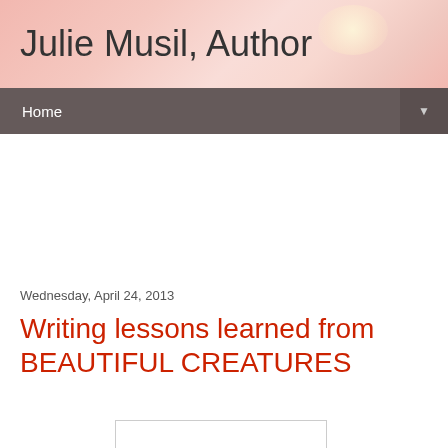Julie Musil, Author
Home
Wednesday, April 24, 2013
Writing lessons learned from BEAUTIFUL CREATURES
[Figure (photo): Book cover or related image placeholder (white rectangle with border)]